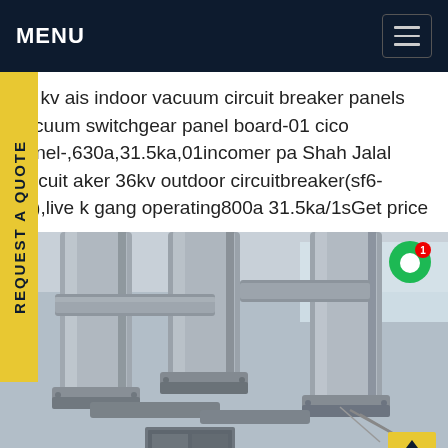MENU
11 kv ais indoor vacuum circuit breaker panels vacuum switchgear panel board-01 cico panel-,630a,31.5ka,01incomer pa Shah Jalal Circuit aker 36kv outdoor circuitbreaker(sf6-cb),live k gang operating800a 31.5ka/1sGet price
REQUEST A QUOTE
[Figure (photo): Close-up photograph of industrial vacuum circuit breaker panels with large cylindrical pipe/bushing components in grey/silver color, viewed from below inside an electrical substation.]